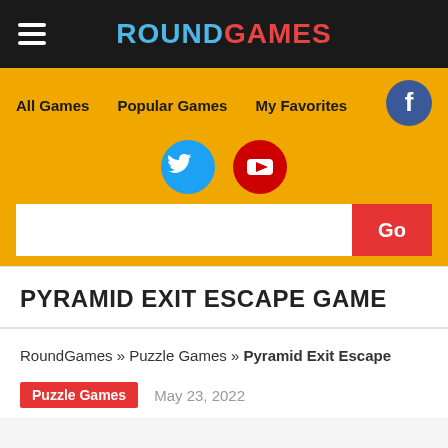ROUNDGAMES
All Games  Popular Games  My Favorites
PYRAMID EXIT ESCAPE GAME
RoundGames » Puzzle Games » Pyramid Exit Escape
Puzzle Games  May 23, 2022